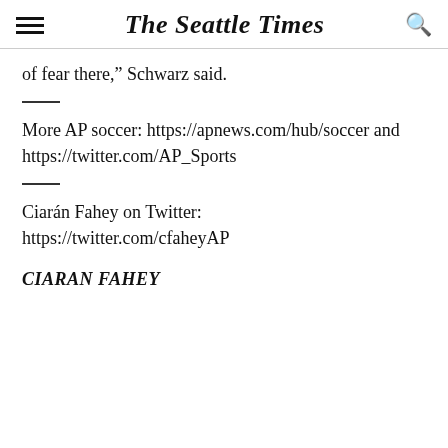The Seattle Times
of fear there,” Schwarz said.
More AP soccer: https://apnews.com/hub/soccer and https://twitter.com/AP_Sports
Ciarán Fahey on Twitter: https://twitter.com/cfaheyAP
CIARAN FAHEY